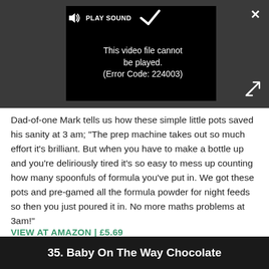[Figure (screenshot): A video player showing an error message: 'This video file cannot be played. (Error Code: 224003)' on a black background, with a PLAY SOUND label and speaker icon at top, a play arrow icon, a close (X) button top-right, and an expand icon bottom-right. The player is set against a dark grey background.]
Dad-of-one Mark tells us how these simple little pots saved his sanity at 3 am; "The prep machine takes out so much effort it's brilliant. But when you have to make a bottle up and you're deliriously tired it's so easy to mess up counting how many spoonfuls of formula you've put in. We got these pots and pre-gamed all the formula powder for night feeds so then you just poured it in. No more maths problems at 3am!"
VIEW AT AMAZON | £5.69
35. Baby On The Way Chocolate